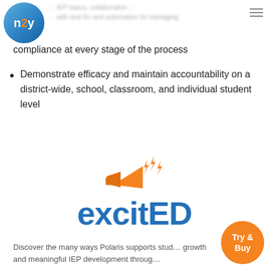n2y — [blurred header text about IEP topics, collaboration, and automation for managing]
compliance at every stage of the process
Demonstrate efficacy and maintain accountability on a district-wide, school, classroom, and individual student level
[Figure (logo): excitED logo: orange megaphone with lightning bolts above, and the word 'excitED' in blue bold text below]
Discover the many ways Polaris supports student growth and meaningful IEP development through…